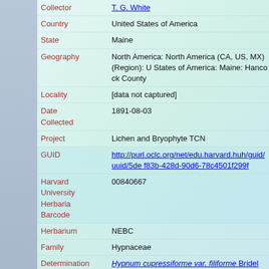| Field | Value |
| --- | --- |
| Collector | T. G. White |
| Country | United States of America |
| State | Maine |
| Geography | North America: North America (CA, US, MX) (Region): United States of America: Maine: Hancock County |
| Locality | [data not captured] |
| Date Collected | 1891-08-03 |
| Project | Lichen and Bryophyte TCN |
| GUID | http://purl.oclc.org/net/edu.harvard.huh/guid/uuid/5de...f83b-428d-90d6-78c4501f299f |
| Harvard University Herbaria Barcode | 00840667 |
| Herbarium | NEBC |
| Family | Hypnaceae |
| Determination | Hypnum cupressiforme var. filiforme Bridel |
| Determination Remarks | [is filed under name] [is Current name] |
| Sex | not determined |
| Phenology | NotDetermined |